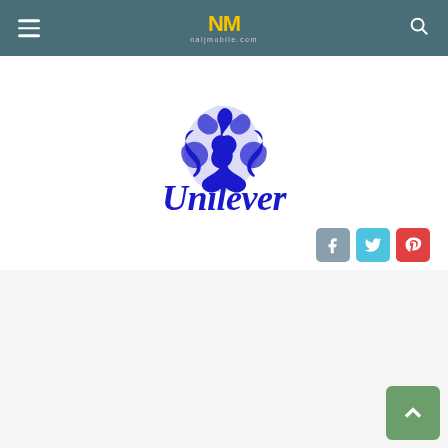NM naijmobile.com navigation bar
[Figure (logo): Unilever logo: decorative blue circular emblem above stylized blue cursive 'Unilever' text]
[Figure (other): Social share buttons: Facebook (grey-blue), Twitter (light blue), Pinterest (red)]
[Figure (other): Back to top button: green rounded square with upward chevron arrow]